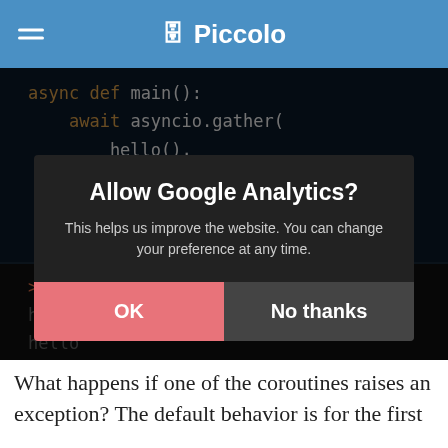Piccolo
[Figure (screenshot): Code block showing async def main() with asyncio.gather calling hello() three times]
[Figure (screenshot): Terminal output showing >>> asyncio.run(main()) with hello printed three times]
[Figure (screenshot): Modal dialog: Allow Google Analytics? This helps us improve the website. You can change your preference at any time. Buttons: OK and No thanks]
What happens if one of the coroutines raises an exception? The default behavior is for the first